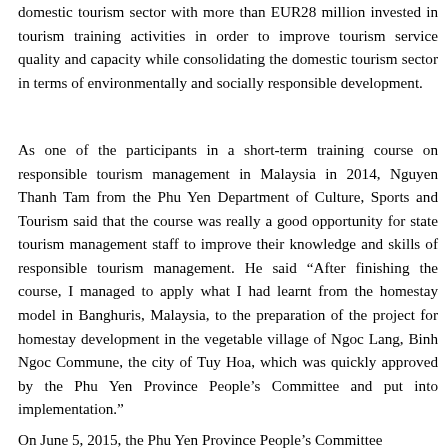domestic tourism sector with more than EUR28 million invested in tourism training activities in order to improve tourism service quality and capacity while consolidating the domestic tourism sector in terms of environmentally and socially responsible development.
As one of the participants in a short-term training course on responsible tourism management in Malaysia in 2014, Nguyen Thanh Tam from the Phu Yen Department of Culture, Sports and Tourism said that the course was really a good opportunity for state tourism management staff to improve their knowledge and skills of responsible tourism management. He said “After finishing the course, I managed to apply what I had learnt from the homestay model in Banghuris, Malaysia, to the preparation of the project for homestay development in the vegetable village of Ngoc Lang, Binh Ngoc Commune, the city of Tuy Hoa, which was quickly approved by the Phu Yen Province People’s Committee and put into implementation.”
On June 5, 2015, the Phu Yen Province People’s Committee